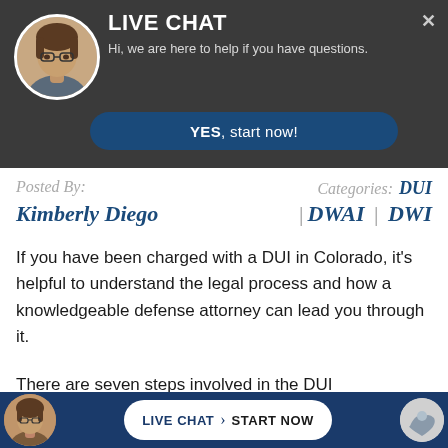[Figure (screenshot): Live chat popup overlay with dark gray header. Shows a circular avatar photo of a woman with glasses, bold white LIVE CHAT title, subtitle text, and a navy YES start now button.]
LIVE CHAT
Hi, we are here to help if you have questions.
Posted By:
Kimberly Diego
Categories: DUI | DWAI | DWI
If you have been charged with a DUI in Colorado, it’s helpful to understand the legal process and how a knowledgeable defense attorney can lead you through it.
There are seven steps involved in the DUI
LIVE CHAT › START NOW